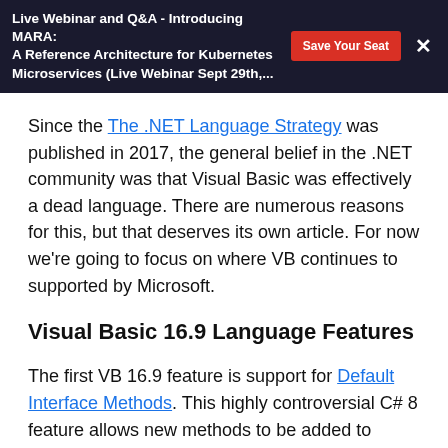Live Webinar and Q&A - Introducing MARA: A Reference Architecture for Kubernetes Microservices (Live Webinar Sept 29th,...
Since the The .NET Language Strategy was published in 2017, the general belief in the .NET community was that Visual Basic was effectively a dead language. There are numerous reasons for this, but that deserves its own article. For now we're going to focus on where VB continues to supported by Microsoft.
Visual Basic 16.9 Language Features
The first VB 16.9 feature is support for Default Interface Methods. This highly controversial C# 8 feature allows new methods to be added to interfaces with an implementation. Effectively this